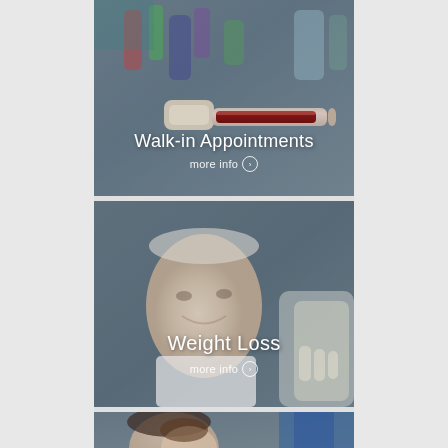[Figure (photo): Medical laboratory scene with blood collection test tube in foreground and colorful reagent bottles in background, overlaid with semi-transparent dark tint]
Walk-in Appointments
more info >
[Figure (photo): Elderly man smiling while being examined or assisted by a healthcare professional, overlaid with semi-transparent dark tint]
Weight Loss
more info >
[Figure (photo): Partial view of a woman and child with a person in blue clothing in background, partially visible at bottom of page]